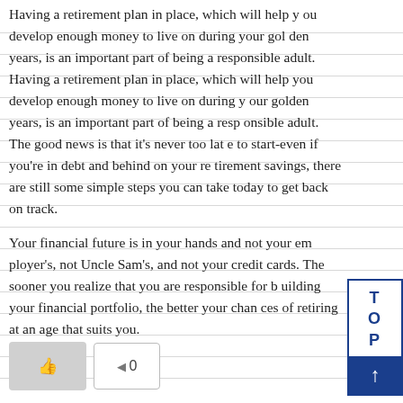Having a retirement plan in place, which will help you develop enough money to live on during your golden years, is an important part of being a responsible adult. Having a retirement plan in place, which will help you develop enough money to live on during your golden years, is an important part of being a responsible adult. The good news is that it's never too late to start-even if you're in debt and behind on your retirement savings, there are still some simple steps you can take today to get back on track.
Your financial future is in your hands and not your employer's, not Uncle Sam's, and not your credit cards. The sooner you realize that you are responsible for building your financial portfolio, the better your chances of retiring at an age that suits you.